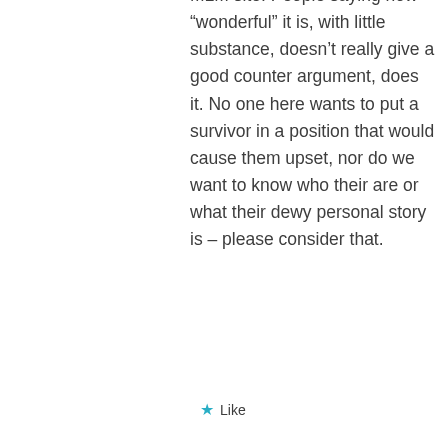MLM site. People saying how “wonderful” it is, with little substance, doesn’t really give a good counter argument, does it. No one here wants to put a survivor in a position that would cause them upset, nor do we want to know who their are or what their dewy personal story is – please consider that.
Like